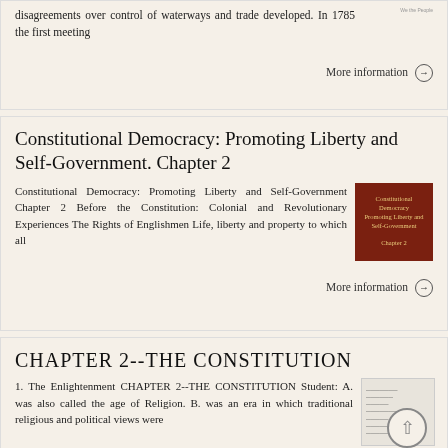disagreements over control of waterways and trade developed. In 1785 the first meeting
More information →
Constitutional Democracy: Promoting Liberty and Self-Government. Chapter 2
Constitutional Democracy: Promoting Liberty and Self-Government Chapter 2 Before the Constitution: Colonial and Revolutionary Experiences The Rights of Englishmen Life, liberty and property to which all
[Figure (illustration): Red/dark book cover with gold text reading 'Constitutional Democracy Promoting Liberty and Self-Government Chapter 2']
More information →
CHAPTER 2--THE CONSTITUTION
1. The Enlightenment CHAPTER 2--THE CONSTITUTION Student: A. was also called the age of Religion. B. was an era in which traditional religious and political views were
[Figure (screenshot): Small document/worksheet image with text lines visible]